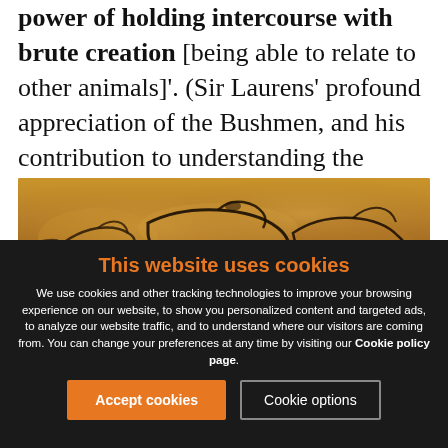power of holding intercourse with brute creation [being able to relate to other animals]'. (Sir Laurens' profound appreciation of the Bushmen, and his contribution to understanding the human condition, is explained in F. Essay 51.)
[Figure (photo): Cave painting showing prehistoric animal figures (horses/bison) drawn in black outlines on a tan/ochre stone surface, resembling Chauvet or similar cave art.]
This website uses cookies
We use cookies and other tracking technologies to improve your browsing experience on our website, to show you personalized content and targeted ads, to analyze our website traffic, and to understand where our visitors are coming from. You can change your preferences at any time by visiting our Cookie policy page.